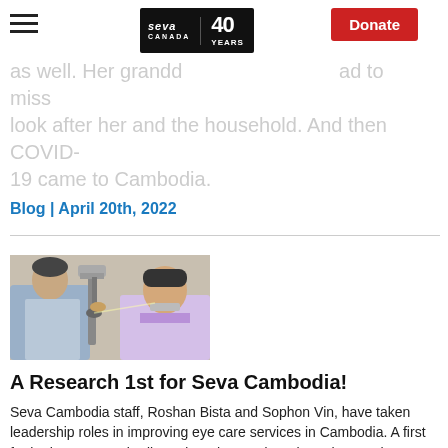blind. She not only lost her sight but her confidence as well. Her granddaughter had to miss school to look after her and the household. And then COVID-19 came to Cambodia.
Blog | April 20th, 2022
[Figure (photo): An eye care professional using a slit-lamp to examine a patient's eyes in a clinical setting. The clinician is seated across from the patient who has their chin resting on the instrument.]
A Research 1st for Seva Cambodia!
Seva Cambodia staff, Roshan Bista and Sophon Vin, have taken leadership roles in improving eye care services in Cambodia. A first for both Seva Cambodia and Roshan and Sophan, they each